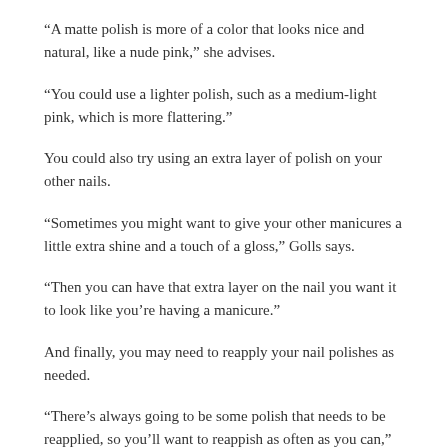“A matte polish is more of a color that looks nice and natural, like a nude pink,” she advises.
“You could use a lighter polish, such as a medium-light pink, which is more flattering.”
You could also try using an extra layer of polish on your other nails.
“Sometimes you might want to give your other manicures a little extra shine and a touch of a gloss,” Golls says.
“Then you can have that extra layer on the nail you want it to look like you’re having a manicure.”
And finally, you may need to reapply your nail polishes as needed.
“There’s always going to be some polish that needs to be reapplied, so you’ll want to reappish as often as you can,” Golls says.